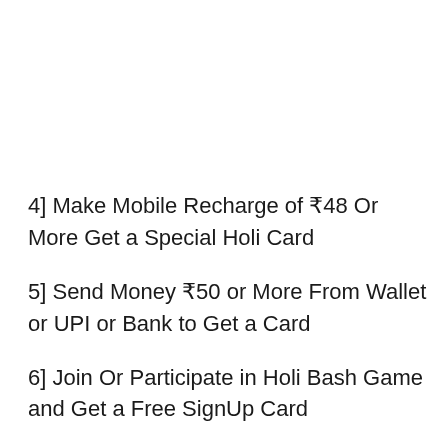4] Make Mobile Recharge of ₹48 Or More Get a Special Holi Card
5] Send Money ₹50 or More From Wallet or UPI or Bank to Get a Card
6] Join Or Participate in Holi Bash Game and Get a Free SignUp Card